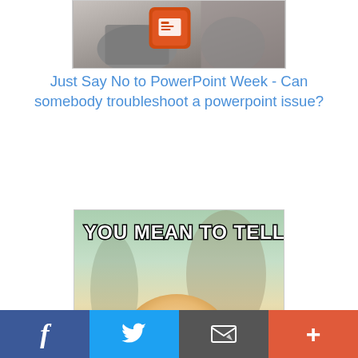[Figure (photo): Black and white photo of hands holding a tablet/device with a PowerPoint/presentation orange icon overlay]
Just Say No to PowerPoint Week - Can somebody troubleshoot a powerpoint issue?
[Figure (photo): Meme image of a baby with skeptical expression, with text 'YOU MEAN TO TELL ME' overlaid at the top in white Impact font with black outline]
Facebook | Twitter | Email | More (+)